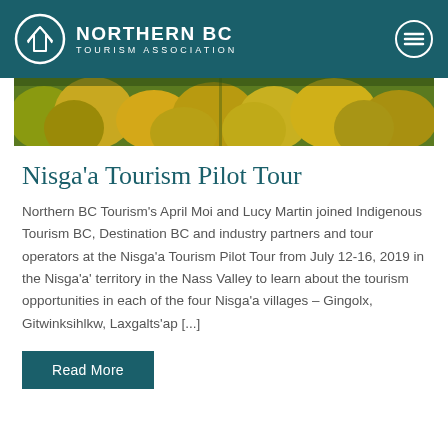NORTHERN BC TOURISM ASSOCIATION
[Figure (photo): Aerial view of autumn/fall forest with yellow-green trees from above]
Nisga'a Tourism Pilot Tour
Northern BC Tourism's April Moi and Lucy Martin joined Indigenous Tourism BC, Destination BC and industry partners and tour operators at the Nisga'a Tourism Pilot Tour from July 12-16, 2019 in the Nisga'a' territory in the Nass Valley to learn about the tourism opportunities in each of the four Nisga'a villages - Gingolx, Gitwinksihlkw, Laxgalts'ap [...]
Read More